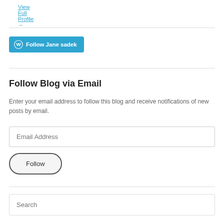View Full Profile →
[Figure (other): WordPress Follow button with WordPress logo icon and text 'Follow Jane sadek' on a blue background]
Follow Blog via Email
Enter your email address to follow this blog and receive notifications of new posts by email.
Email Address (input field)
Follow (button)
Search (input field)